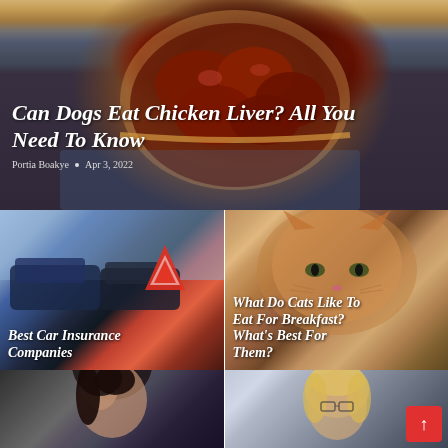[Figure (photo): Photo of raw chicken livers in a wooden bowl placed on a blue checkered cloth, with article title overlay]
Can Dogs Eat Chicken Liver? All You Need To Know
Portia Boakye  •  Apr 3, 2022
[Figure (photo): Photo of two crashed cars with a red warning triangle on the road]
Best Car Insurance Companies
[Figure (photo): Photo of an orange tabby cat looking at the camera]
What Do Cats Like To Eat For Breakfast? What's Best For Them?
[Figure (photo): Photo of a dark-haired woman looking upward]
[Figure (photo): Photo of a blonde woman wearing glasses]